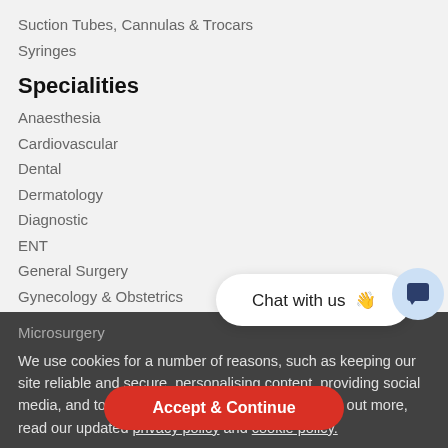Suction Tubes, Cannulas & Trocars
Syringes
Specialities
Anaesthesia
Cardiovascular
Dental
Dermatology
Diagnostic
ENT
General Surgery
Gynecology & Obstetrics
Microsurgery
[Figure (other): Chat with us popup bubble with waving hand emoji]
[Figure (other): Chat icon button circle]
We use cookies for a number of reasons, such as keeping our site reliable and secure, personalising content, providing social media, and to analyze how our site is used. To find out more, read our updated privacy policy and cookie policy.
Plastic Surgery
Podiatry Instruments
Post Mortem
Accept & Continue